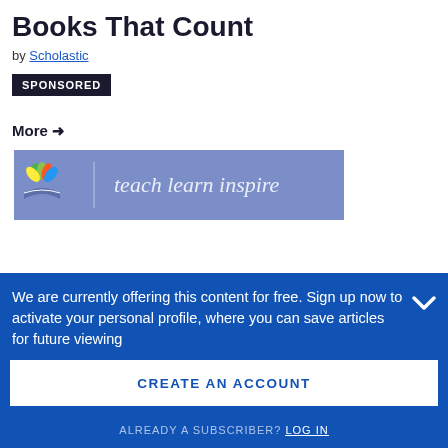Books That Count
by Scholastic
SPONSORED
More →
[Figure (illustration): teach learn inspire banner with lotus/book logo on purple-blue background]
We are currently offering this content for free. Sign up now to activate your personal profile, where you can save articles for future viewing
CREATE AN ACCOUNT
ALREADY A SUBSCRIBER? LOG IN